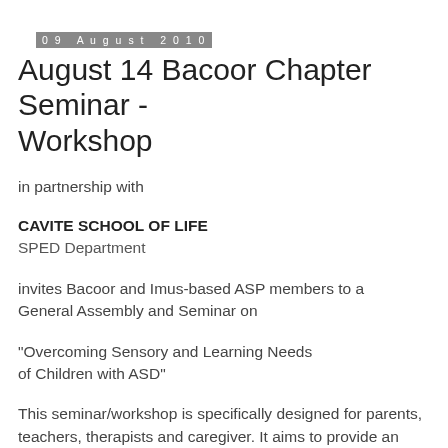09 August 2010
August 14 Bacoor Chapter Seminar - Workshop
in partnership with
CAVITE SCHOOL OF LIFE
SPED Department
invites Bacoor and Imus-based ASP members to a General Assembly and Seminar on
"Overcoming Sensory and Learning Needs of Children with ASD"
This seminar/workshop is specifically designed for parents, teachers, therapists and caregiver. It aims to provide an overview of the underlying sensory and learning challenges that influences learning and performance of students with ASD. Special emphasis will be on analyzing when the